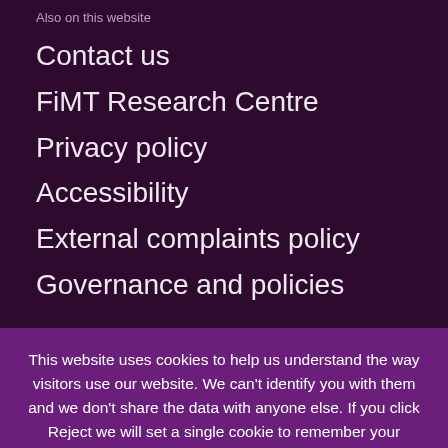Also on this website
Contact us
FiMT Research Centre
Privacy policy
Accessibility
External complaints policy
Governance and policies
This website uses cookies to help us understand the way visitors use our website. We can't identify you with them and we don't share the data with anyone else. If you click Reject we will set a single cookie to remember your preference. Find out more in our privacy policy.
Accept cookies
Reject cookies